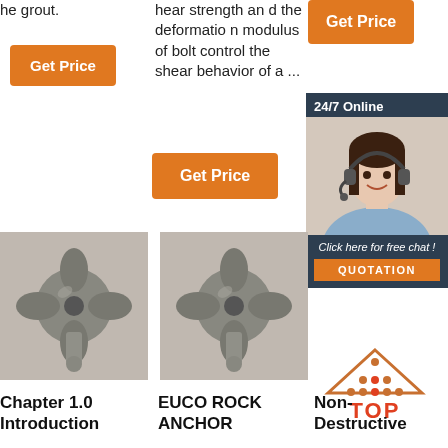he grout.
[Figure (other): Orange 'Get Price' button on left]
hear strength and the deformation modulus of bolt control the shear behavior of a ...
[Figure (other): Orange 'Get Price' button top right]
[Figure (other): 24/7 Online chat box with customer service representative photo, 'Click here for free chat!' text and QUOTATION orange button]
[Figure (other): Orange 'Get Price' button center]
[Figure (photo): Photo of a metal rock anchor bolt drill bit product]
[Figure (photo): Photo of a metal rock anchor bolt drill bit product (duplicate)]
[Figure (logo): TOP logo with triangle/pyramid icon in orange and red]
Chapter 1.0 Introduction
EUCO ROCK ANCHOR
Non-Destructive